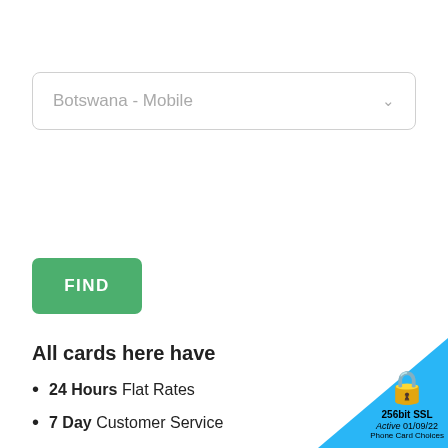Botswana - Mobile
FIND
All cards here have
24 Hours Flat Rates
7 Day Customer Service
6 Months Expiry
[Figure (other): 256bit SSL Active 01/09/22 Phone Card Choices security badge in bottom-right corner with padlock icon on blue triangle background]